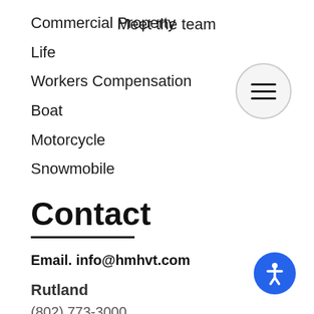Commercial Property
Life
Workers Compensation
Boat
Motorcycle
Snowmobile
Meet the team
Contact
Email. info@hmhvt.com
Rutland
(802) 773-3000
105 Center St,
Rutland, VT 05701
Woodstock